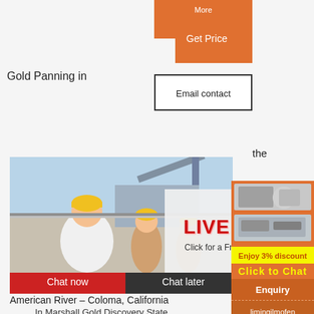[Figure (infographic): Orange 'Get Price' button at top center]
Gold Panning in
[Figure (infographic): Email contact button (outlined box)]
the
[Figure (photo): Workers in yellow hard hats at construction/mining site with excavator in background]
[Figure (infographic): LIVE CHAT overlay with 'Click for a Free Consultation' and close button]
[Figure (photo): Mining/crushing equipment processing gravel at outdoor site]
[Figure (infographic): Sidebar with mining machinery photos, Enjoy 3% discount / Click to Chat, Enquiry, limingjlmofen@sina.com]
American River – Coloma, California
In Marshall Gold Discovery State